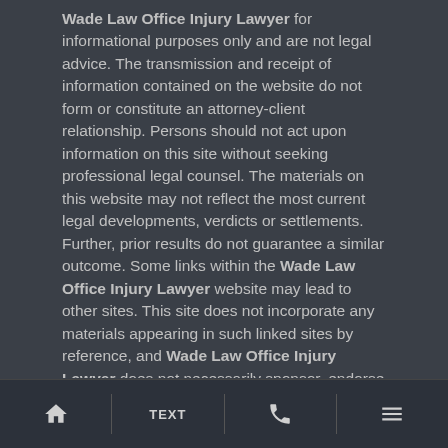Wade Law Office Injury Lawyer for informational purposes only and are not legal advice. The transmission and receipt of information contained on the website do not form or constitute an attorney-client relationship. Persons should not act upon information on this site without seeking professional legal counsel. The materials on this website may not reflect the most current legal developments, verdicts or settlements. Further, prior results do not guarantee a similar outcome. Some links within the Wade Law Office Injury Lawyer website may lead to other sites. This site does not incorporate any materials appearing in such linked sites by reference, and Wade Law Office Injury Lawyer does not necessarily sponsor, endorse or otherwise approve of such linked materials.
© 2022 Wade Law Office Injury Lawyer. All Rights Reserved.
Powered by
Home | TEXT | Phone | Menu